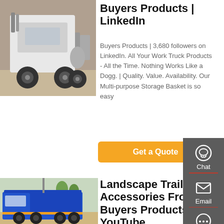[Figure (photo): Rear view of a white semi-truck/tractor unit in a yard with other trucks in background]
Buyers Products | LinkedIn
Buyers Products | 3,680 followers on LinkedIn. All Your Work Truck Products - All the Time. Nothing Works Like a Dogg. | Quality. Value. Availability. Our Multi-purpose Storage Basket is so easy
Get a Quote
[Figure (photo): Blue dump truck parked outdoors]
Landscape Trailer Accessories From Buyers Products - YouTube